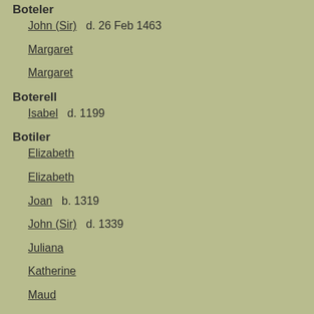Boteler
John (Sir)   d. 26 Feb 1463
Margaret
Margaret
Boterell
Isabel   d. 1199
Botiler
Elizabeth
Elizabeth
Joan   b. 1319
John (Sir)   d. 1339
Juliana
Katherine
Maud